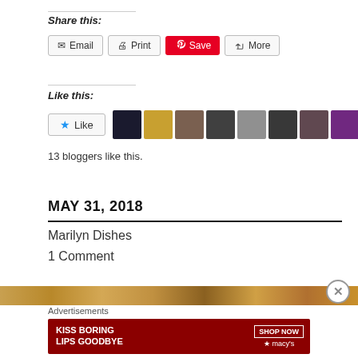Share this:
Email  Print  Save  More
Like this:
Like  13 bloggers like this.
MAY 31, 2018
Marilyn Dishes
1 Comment
[Figure (photo): Macy's advertisement banner: KISS BORING LIPS GOODBYE with SHOP NOW button]
Advertisements